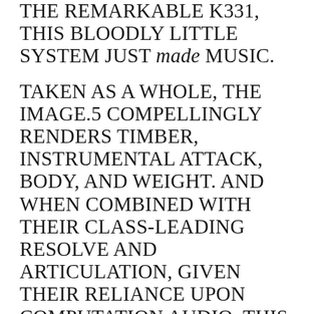The remarkable K331, this bloodly little system just MADE MUSIC.
Taken as a whole, the IMAGE.5 compellingly renders timber, instrumental attack, body, and weight. And when combined with their class-leading resolve and articulation, given their reliance upon computation audio, this remarkably comprehensive and resourceful system won me over, bringing a smile to my face and keeping my foot tapping along over my time in